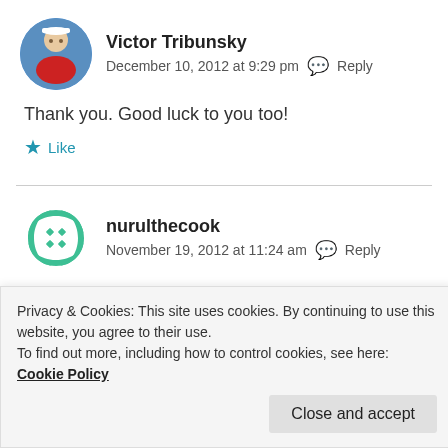[Figure (photo): Avatar of Victor Tribunsky — man in red shirt and white captain hat against blue sky background, circular crop]
Victor Tribunsky
December 10, 2012 at 9:29 pm   Reply
Thank you. Good luck to you too!
Like
[Figure (illustration): Avatar of nurulthecook — teal/green geometric circular icon]
nurulthecook
November 19, 2012 at 11:24 am   Reply
Privacy & Cookies: This site uses cookies. By continuing to use this website, you agree to their use.
To find out more, including how to control cookies, see here: Cookie Policy
Close and accept